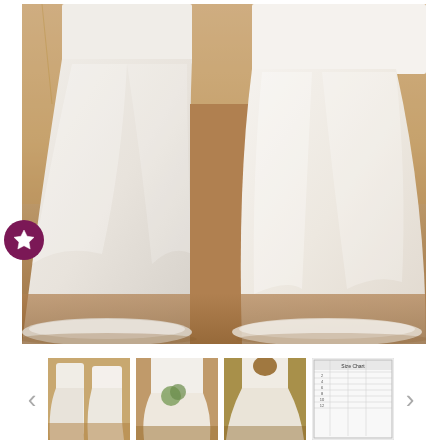[Figure (photo): Main large photo of two women in long white tulle wedding/bridesmaid dresses walking outdoors on a dirt path with golden dry grass in the background. The image is cropped to show from chest-level down. A star/favorite icon button (dark purple circle with white star) overlays the bottom-left of the image.]
[Figure (photo): Thumbnail 1: Two women in white dresses outdoors with trees in background]
[Figure (photo): Thumbnail 2: Single woman in white dress holding bouquet outdoors]
[Figure (photo): Thumbnail 3: Back view of woman in white dress with flowers outdoors]
[Figure (table-as-image): Thumbnail 4: Size chart or specification table with text and numbers]